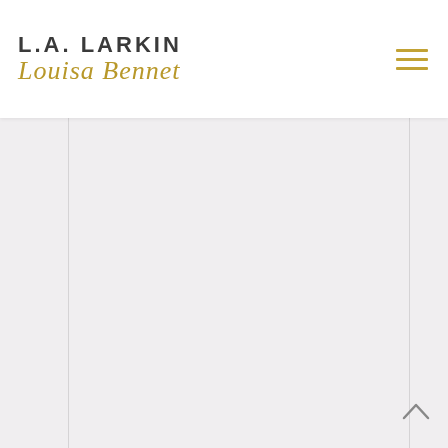L.A. LARKIN / Louisa Bennet — website header with navigation hamburger menu
[Figure (screenshot): Website screenshot showing author branding header for L.A. Larkin / Louisa Bennet with a hamburger menu icon on the right, and a largely blank content area below with left and right vertical border lines and a back-to-top chevron arrow in the lower right.]